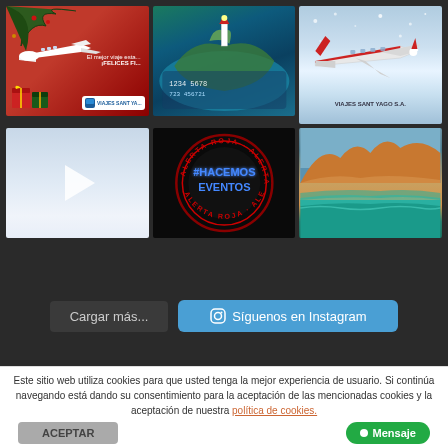[Figure (photo): Christmas themed image with white airplane on red background, pine branches, gift boxes, and Viajes Sant Yago branding]
[Figure (photo): Aerial view of coastal landscape with lighthouse, shown on credit/debit card design with blue water]
[Figure (photo): Winter/Christmas scene with red and white airplane flying over snowy landscape with Viajes Sant Yago S.A. text]
[Figure (photo): Video thumbnail showing pale sky/clouds with play button icon]
[Figure (illustration): Black circular badge with red ring text reading ALERTA ROJA and blue neon text #HACEMOS EVENTOS in center]
[Figure (photo): Desert beach landscape with orange sand dunes meeting turquoise water under blue sky]
Cargar más...
Síguenos en Instagram
Este sitio web utiliza cookies para que usted tenga la mejor experiencia de usuario. Si continúa navegando está dando su consentimiento para la aceptación de las mencionadas cookies y la aceptación de nuestra política de cookies.
ACEPTAR
Mensaje